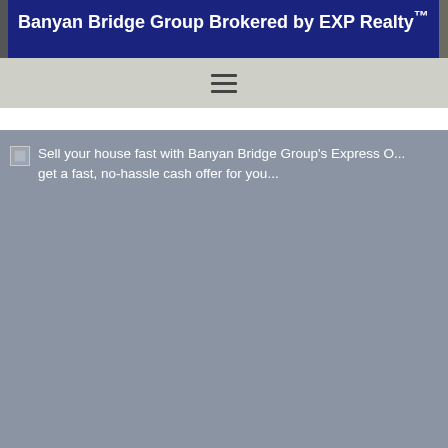Banyan Bridge Group Brokered by EXP Realty™
[Figure (screenshot): Navigation hamburger menu icon (three horizontal lines) on a light gray background nav bar]
[Figure (photo): Broken image placeholder for: Sell your house fast with Banyan Bridge Group's Express Offer — get a fast, no-hassle cash offer for your home. Image failed to load, showing alt text on gray background.]